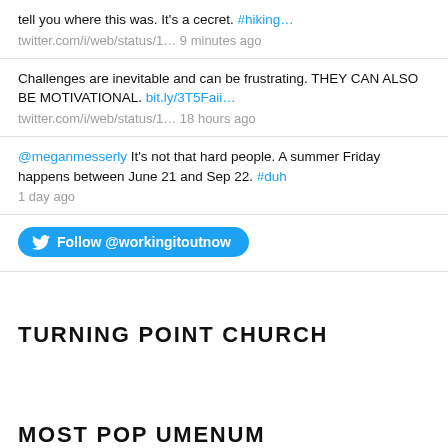tell you where this was. It's a cecret. #hiking…
twitter.com/i/web/status/1… 9 minutes ago
Challenges are inevitable and can be frustrating. THEY CAN ALSO BE MOTIVATIONAL. bit.ly/3T5Faii…
twitter.com/i/web/status/1… 18 hours ago
@meganmesserly It's not that hard people. A summer Friday happens between June 21 and Sep 22. #duh
1 day ago
Follow @workingitoutnow
TURNING POINT CHURCH
MOST POP UMENUM